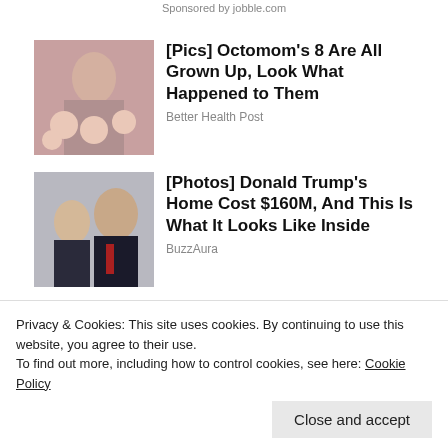Sponsored by jobble.com
[Figure (photo): Woman holding multiple babies (Octomom photo)]
[Pics] Octomom's 8 Are All Grown Up, Look What Happened to Them
Better Health Post
[Figure (photo): Man and woman standing together (Donald Trump photo)]
[Photos] Donald Trump's Home Cost $160M, And This Is What It Looks Like Inside
BuzzAura
[Figure (photo): Partial outdoor/nature photo strip at bottom]
Privacy & Cookies: This site uses cookies. By continuing to use this website, you agree to their use. To find out more, including how to control cookies, see here: Cookie Policy
Close and accept